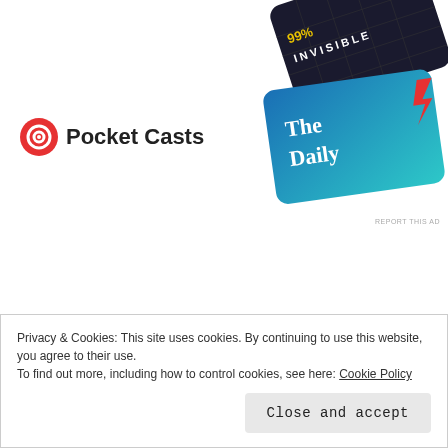[Figure (logo): Pocket Casts logo with red circular icon and bold text 'Pocket Casts']
[Figure (illustration): Podcast app cards showing '99% Invisible' and 'The Daily' on dark/blue backgrounds, partially visible in upper right]
REPORT THIS AD
Recipes
About me
Contact me
Privacy & Cookies: This site uses cookies. By continuing to use this website, you agree to their use.
To find out more, including how to control cookies, see here: Cookie Policy
Close and accept